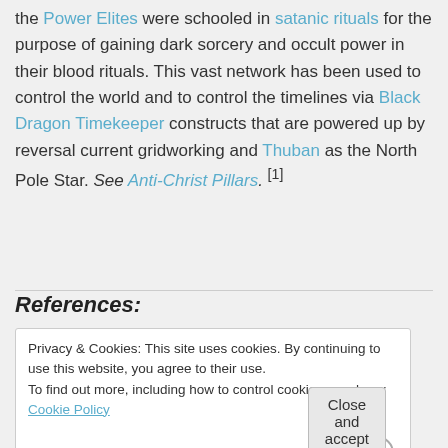the Power Elites were schooled in satanic rituals for the purpose of gaining dark sorcery and occult power in their blood rituals. This vast network has been used to control the world and to control the timelines via Black Dragon Timekeeper constructs that are powered up by reversal current gridworking and Thuban as the North Pole Star. See Anti-Christ Pillars. [1]
References:
Privacy & Cookies: This site uses cookies. By continuing to use this website, you agree to their use. To find out more, including how to control cookies, see here: Cookie Policy